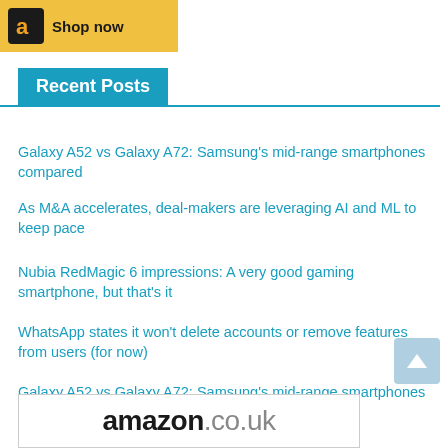[Figure (logo): Amazon 'Shop now' banner button with Amazon logo on dark background and yellow background]
Recent Posts
Galaxy A52 vs Galaxy A72: Samsung's mid-range smartphones compared
As M&A accelerates, deal-makers are leveraging AI and ML to keep pace
Nubia RedMagic 6 impressions: A very good gaming smartphone, but that's it
WhatsApp states it won't delete accounts or remove features from users (for now)
Galaxy A52 vs Galaxy A72: Samsung's mid-range smartphones compared
[Figure (logo): Amazon.co.uk logo in footer banner]